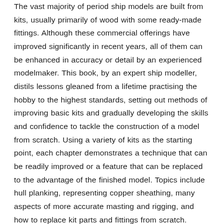The vast majority of period ship models are built from kits, usually primarily of wood with some ready-made fittings. Although these commercial offerings have improved significantly in recent years, all of them can be enhanced in accuracy or detail by an experienced modelmaker. This book, by an expert ship modeller, distils lessons gleaned from a lifetime practising the hobby to the highest standards, setting out methods of improving basic kits and gradually developing the skills and confidence to tackle the construction of a model from scratch. Using a variety of kits as the starting point, each chapter demonstrates a technique that can be readily improved or a feature that can be replaced to the advantage of the finished model. Topics include hull planking, representing copper sheathing, many aspects of more accurate masting and rigging, and how to replace kit parts and fittings from scratch. Ultimately, the impact of a period model depends on its accuracy, and the book also provides guidance on plans and references, where to find them and how they are best used. The plank-on-frame model, sometimes with exposed frames is